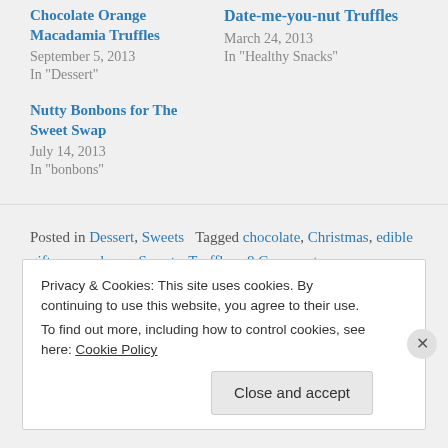Chocolate Orange Macadamia Truffles
September 5, 2013
In "Dessert"
Date-me-you-nut Truffles
March 24, 2013
In "Healthy Snacks"
Nutty Bonbons for The Sweet Swap
July 14, 2013
In "bonbons"
Posted in Dessert, Sweets   Tagged chocolate, Christmas, edible gifts, sour cherry, Sweets, Truffles   8 Comments
Privacy & Cookies: This site uses cookies. By continuing to use this website, you agree to their use.
To find out more, including how to control cookies, see here: Cookie Policy
Close and accept